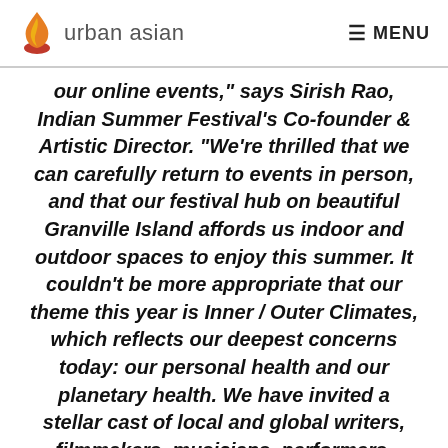urban asian  MENU
our online events,” says Sirish Rao, Indian Summer Festival’s Co-founder & Artistic Director. “We’re thrilled that we can carefully return to events in person, and that our festival hub on beautiful Granville Island affords us indoor and outdoor spaces to enjoy this summer. It couldn’t be more appropriate that our theme this year is Inner / Outer Climates, which reflects our deepest concerns today: our personal health and our planetary health. We have invited a stellar cast of local and global writers, filmmakers, musicians, performers, dancers, artists, and healers to